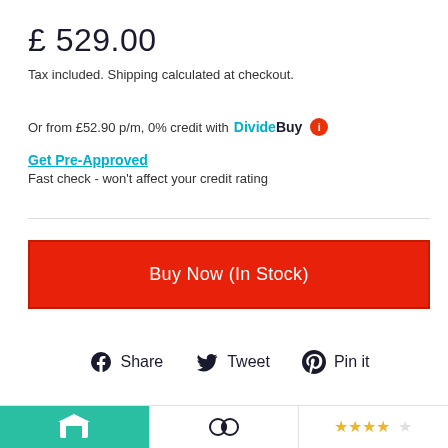£ 529.00
Tax included. Shipping calculated at checkout.
Or from £52.90 p/m, 0% credit with DivideBuy ℹ
Get Pre-Approved
Fast check - won't affect your credit rating
Buy Now (In Stock)
Share  Tweet  Pin it